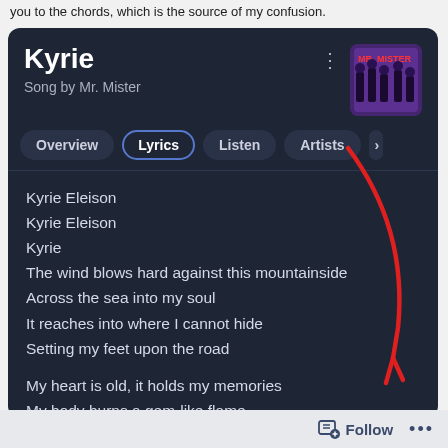you to the chords, which is the source of my confusion.
[Figure (screenshot): Google search result card for 'Kyrie' by Mr. Mister showing song title, artist, navigation tabs (Overview, Lyrics, Listen, Artists), and lyrics starting with 'Kyrie Eleison' through 'Somewhere between the soul and soft machine'. A red hand-drawn arrow annotation curves from upper right to lower right area of the screenshot.]
Kyrie Eleison
Kyrie Eleison
Kyrie
The wind blows hard against this mountainside
Across the sea into my soul
It reaches into where I cannot hide
Setting my feet upon the road

My heart is old, it holds my memories
My body burns a gem-like flame
Somewhere between the soul and soft machine